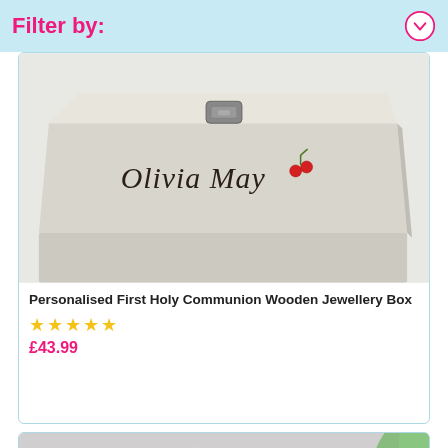Filter by:
[Figure (photo): A white wooden personalised jewellery box with the name 'Olivia May' written on it in dark script, with a metal clasp and a small cherry/floral decoration.]
Personalised First Holy Communion Wooden Jewellery Box
★★★★★
£43.99
[Figure (photo): Partially visible product image showing a grey background with scattered white petals and a product item partially in frame.]